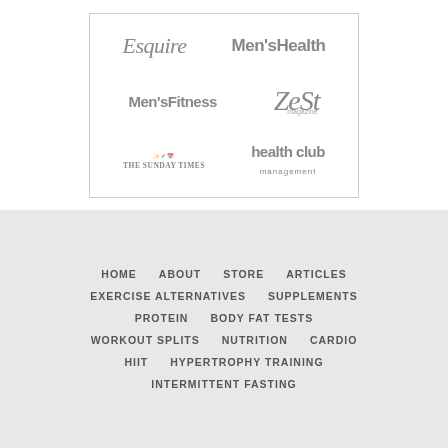[Figure (logo): Grid of publication logos: Esquire, Men's Health, Men's Fitness, Zest magazine, The Sunday Times, health club management]
HOME
ABOUT
STORE
ARTICLES
EXERCISE ALTERNATIVES
SUPPLEMENTS
PROTEIN
BODY FAT TESTS
WORKOUT SPLITS
NUTRITION
CARDIO
HIIT
HYPERTROPHY TRAINING
INTERMITTENT FASTING